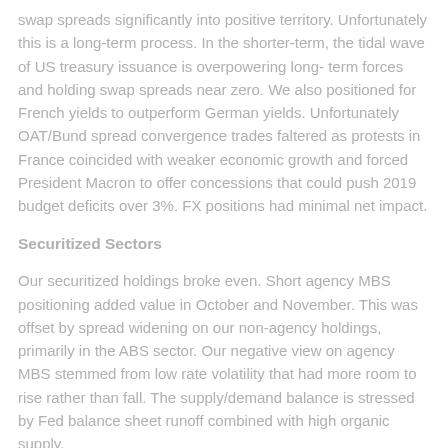swap spreads significantly into positive territory. Unfortunately this is a long-term process. In the shorter-term, the tidal wave of US treasury issuance is overpowering long-term forces and holding swap spreads near zero. We also positioned for French yields to outperform German yields. Unfortunately OAT/Bund spread convergence trades faltered as protests in France coincided with weaker economic growth and forced President Macron to offer concessions that could push 2019 budget deficits over 3%. FX positions had minimal net impact.
Securitized Sectors
Our securitized holdings broke even. Short agency MBS positioning added value in October and November. This was offset by spread widening on our non-agency holdings, primarily in the ABS sector. Our negative view on agency MBS stemmed from low rate volatility that had more room to rise rather than fall. The supply/demand balance is stressed by Fed balance sheet runoff combined with high organic supply.